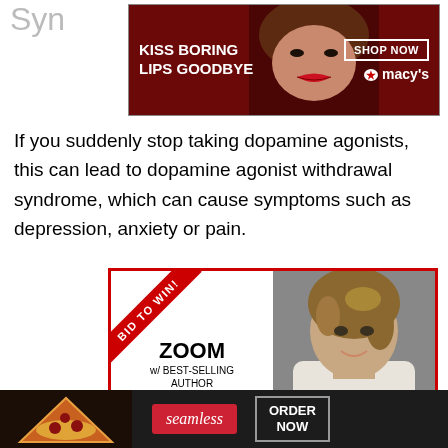Syn
[Figure (photo): Macy's advertisement banner: KISS BORING LIPS GOODBYE with red lips photo, SHOP NOW button, Macy's star logo]
If you suddenly stop taking dopamine agonists, this can lead to dopamine agonist withdrawal syndrome, which can cause symptoms such as depression, anxiety or pain.
[Figure (photo): Advertisement: BID TO WIN ribbon, ZOOM w/ BEST-SELLING AUTHOR LISA McMANN, with photo of woman, close button and X button]
[Figure (photo): Seamless food delivery advertisement: pizza image, seamless badge, ORDER NOW button]